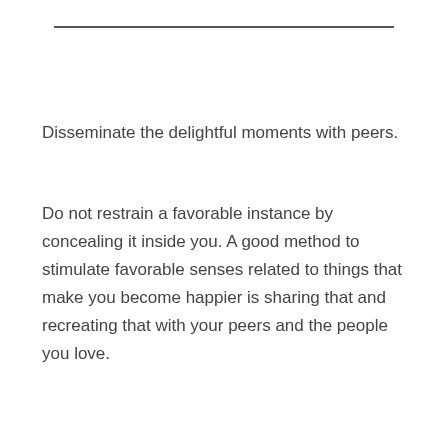Disseminate the delightful moments with peers.
Do not restrain a favorable instance by concealing it inside you. A good method to stimulate favorable senses related to things that make you become happier is sharing that and recreating that with your peers and the people you love.
1. 10 SIGN OF DEPRESSION
2. 10 SIGNS OF TRUE LOVE